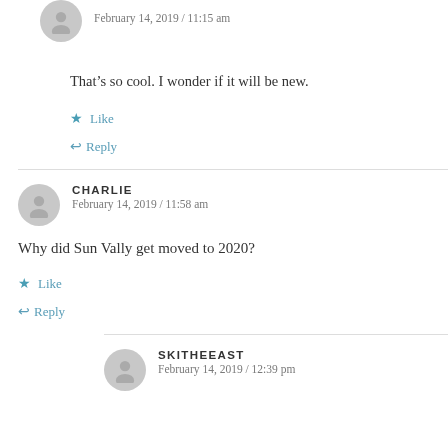February 14, 2019 / 11:15 am
That’s so cool. I wonder if it will be new.
Like
Reply
CHARLIE
February 14, 2019 / 11:58 am
Why did Sun Vally get moved to 2020?
Like
Reply
SKITHEEAST
February 14, 2019 / 12:39 pm